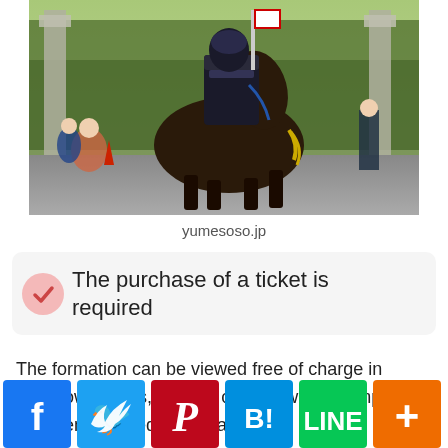[Figure (photo): A person in samurai armor riding a dark horse at what appears to be a traditional Japanese equestrian festival or parade, with stone torii gate pillars visible in the background and spectators watching.]
yumesoso.jp
The purchase of a ticket is required
The formation can be viewed free of charge in downtown areas, but you can not watch competition between armored horse races and without the ceremonial place of Hibangahara. The purchase of a ticket